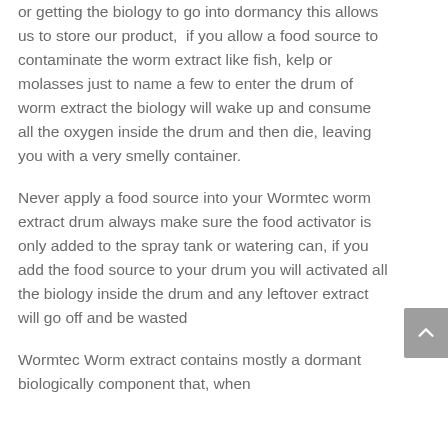or getting the biology to go into dormancy this allows us to store our product, if you allow a food source to contaminate the worm extract like fish, kelp or molasses just to name a few to enter the drum of worm extract the biology will wake up and consume all the oxygen inside the drum and then die, leaving you with a very smelly container.
Never apply a food source into your Wormtec worm extract drum always make sure the food activator is only added to the spray tank or watering can, if you add the food source to your drum you will activated all the biology inside the drum and any leftover extract will go off and be wasted
Wormtec Worm extract contains mostly a dormant biologically component that, when